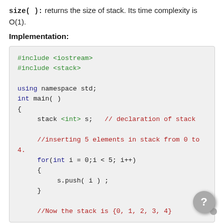size( ): returns the size of stack. Its time complexity is O(1).
Implementation:
[Figure (screenshot): C++ code block showing #include <iostream>, #include <stack>, using namespace std, int main(), stack declaration, for loop inserting 5 elements into stack, and a comment showing the stack is {0, 1, 2, 3, 4}]